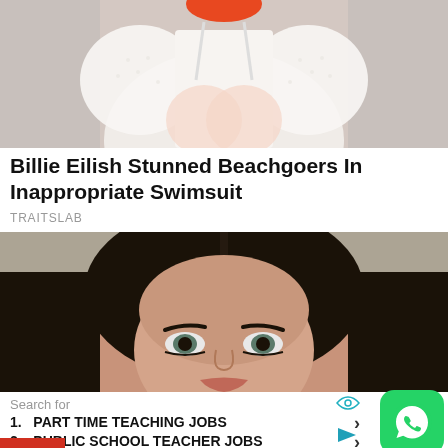[Figure (photo): Partial view of a woman in white lace clothing, upper body visible, cropped at top of page]
Billie Eilish Stunned Beachgoers In Inappropriate Swimsuit
TRAITSLAB
[Figure (photo): Close-up portrait of a dark-haired woman with striking eyes looking at the camera, against a neutral background]
Search for
1. PART TIME TEACHING JOBS
2. PUBLIC SCHOOL TEACHER JOBS